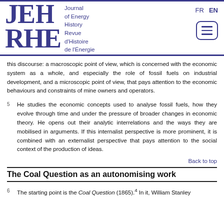JEH RHE — Journal of Energy History / Revue d'Histoire de l'Énergie — FR EN
this discourse: a macroscopic point of view, which is concerned with the economic system as a whole, and especially the role of fossil fuels on industrial development, and a microscopic point of view, that pays attention to the economic behaviours and constraints of mine owners and operators.
5  He studies the economic concepts used to analyse fossil fuels, how they evolve through time and under the pressure of broader changes in economic theory. He opens out their analytic interrelations and the ways they are mobilised in arguments. If this internalist perspective is more prominent, it is combined with an externalist perspective that pays attention to the social context of the production of ideas.
Back to top
The Coal Question as an autonomising work
6  The starting point is the Coal Question (1865).4 In it, William Stanley